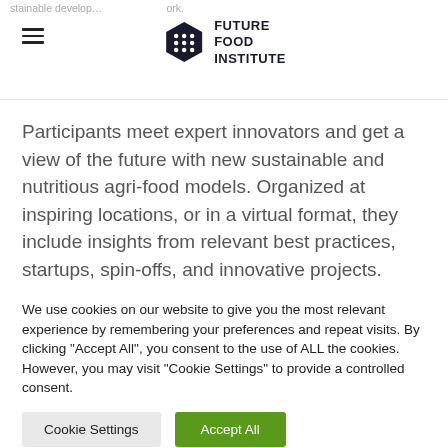Future Food Institute logo and navigation
Participants meet expert innovators and get a view of the future with new sustainable and nutritious agri-food models. Organized at inspiring locations, or in a virtual format, they include insights from relevant best practices, startups, spin-offs, and innovative projects.
We use cookies on our website to give you the most relevant experience by remembering your preferences and repeat visits. By clicking "Accept All", you consent to the use of ALL the cookies. However, you may visit "Cookie Settings" to provide a controlled consent.